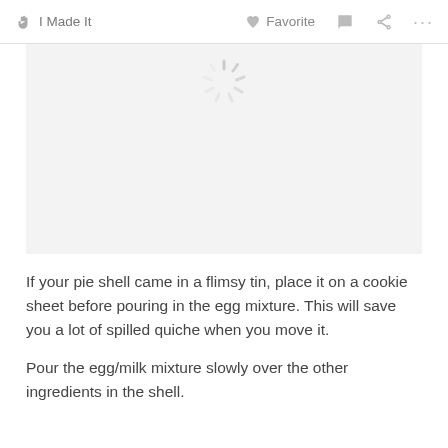I Made It  Favorite
[Figure (screenshot): Loading placeholder image area with a spinner icon on a light grey background]
If your pie shell came in a flimsy tin, place it on a cookie sheet before pouring in the egg mixture. This will save you a lot of spilled quiche when you move it.
Pour the egg/milk mixture slowly over the other ingredients in the shell.